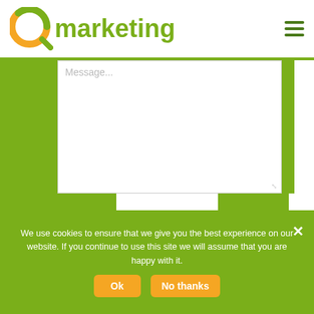[Figure (logo): Q marketing logo with orange/yellow/green circular Q icon and green 'marketing' text]
[Figure (screenshot): Message textarea input field with placeholder text 'Message...' and resize handle]
[Figure (screenshot): reCAPTCHA widget showing error: ERROR for site owner: Invalid key type, with reCAPTCHA icon, Privacy and Terms links]
[Figure (screenshot): Green rounded 'Next' button]
We use cookies to ensure that we give you the best experience on our website. If you continue to use this site we will assume that you are happy with it.
[Figure (screenshot): Cookie consent bar with Ok and No thanks buttons]